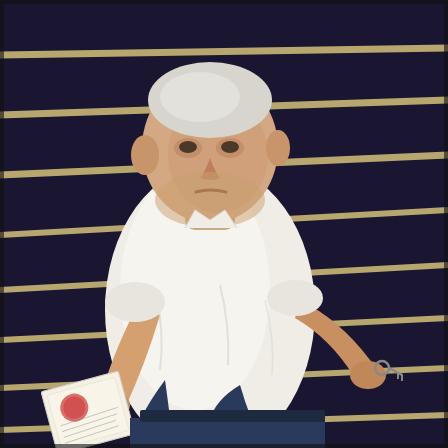[Figure (illustration): A painted portrait of a heavyset middle-aged man with white/grey hair, wearing a white button-up shirt with sleeves rolled up and dark blue trousers. He stands in a three-quarter pose against a dark navy/black background with horizontal golden/cream stripes. In his left hand he holds papers or documents with a red seal/stamp. His right arm is extended outward with his hand open, holding what appears to be a small key or similar object. The figure has a stern, slightly frowning expression.]